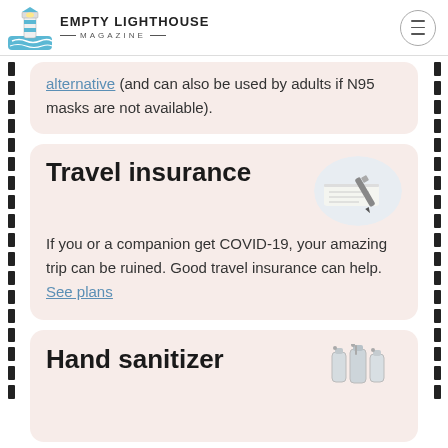EMPTY LIGHTHOUSE MAGAZINE
alternative (and can also be used by adults if N95 masks are not available).
Travel insurance
If you or a companion get COVID-19, your amazing trip can be ruined. Good travel insurance can help. See plans
[Figure (photo): Close-up photo of a pen on paper, oval/circular crop]
Hand sanitizer
[Figure (illustration): Illustration of hand sanitizer bottles]